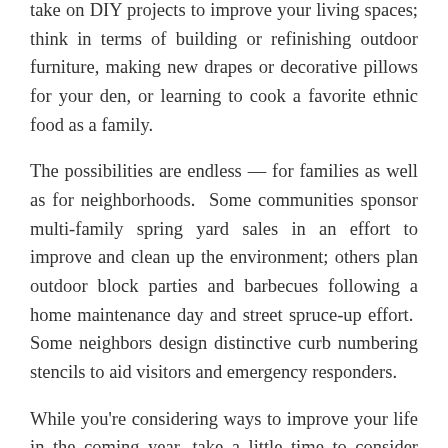take on DIY projects to improve your living spaces; think in terms of building or refinishing outdoor furniture, making new drapes or decorative pillows for your den, or learning to cook a favorite ethnic food as a family.
The possibilities are endless — for families as well as for neighborhoods.  Some communities sponsor multi-family spring yard sales in an effort to improve and clean up the environment; others plan outdoor block parties and barbecues following a home maintenance day and street spruce-up effort.  Some neighbors design distinctive curb numbering stencils to aid visitors and emergency responders.
While you're considering ways to improve your life in the coming year, take a little time to consider your insurance needs as well.  Feel free to contact us at Lou Aggetta Insurance to get a quote on all your personal and